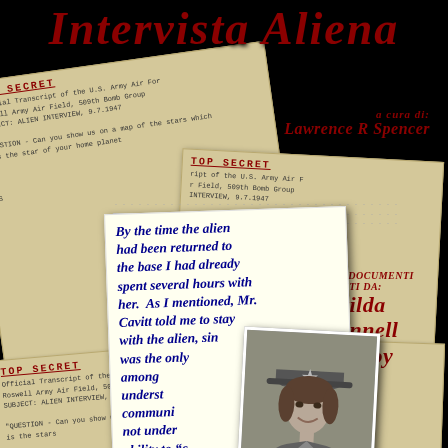Intervista Aliena
a cura di: Lawrence R Spencer
[Figure (photo): Aged document pages with TOP SECRET stamps and typewritten text about U.S. Army Air Force, Roswell Army Air Field, 509th Bomb Group, ALIEN INTERVIEW 9.7.1947]
By the time the alien had been returned to the base I had already spent several hours with her. As I mentioned, Mr. Cavitt told me to stay with the alien, since I was the only one among us who could understand her communication. I did not understand how I had this ability to communicate with the being. I had never before experienced this type of communication anyone.
[Figure (photo): Black and white portrait photograph of a woman in military uniform wearing a cap with a star insignia, smiling]
Basato sui documenti forniti da: Matilda O'Donnell Macelroy